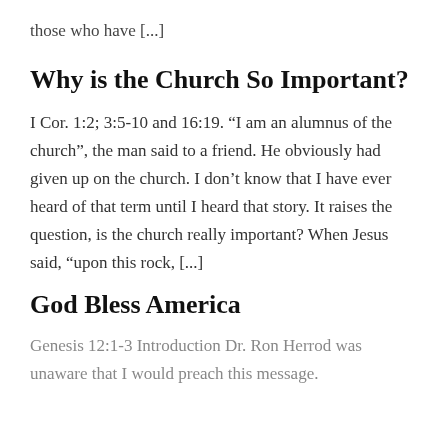those who have [...]
Why is the Church So Important?
I Cor. 1:2; 3:5-10 and 16:19. “I am an alumnus of the church”, the man said to a friend. He obviously had given up on the church. I don’t know that I have ever heard of that term until I heard that story. It raises the question, is the church really important? When Jesus said, “upon this rock, [...]
God Bless America
Genesis 12:1-3 Introduction Dr. Ron Herrod was unaware that I would preach this message.